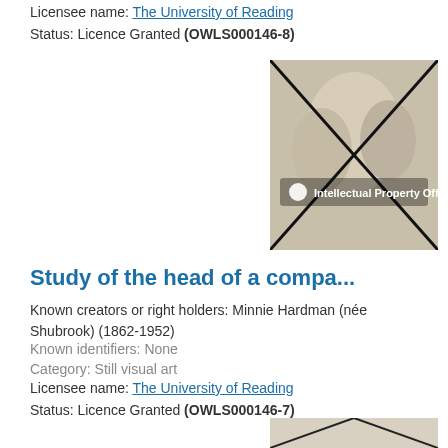Licensee name: The University of Reading
Status: Licence Granted (OWLS000146-8)
[Figure (photo): A pencil or charcoal drawing of a person's head/bust from two angles, with an X mark overlaid and an Intellectual Property Office watermark]
Study of the head of a compa...
Known creators or right holders: Minnie Hardman (née Shubrook) (1862-1952)
Known identifiers: None
Category: Still visual art
Licensee name: The University of Reading
Status: Licence Granted (OWLS000146-7)
[Figure (photo): Partial image of an artwork showing a triangular or envelope-like shape, partially cut off at the bottom of the page]